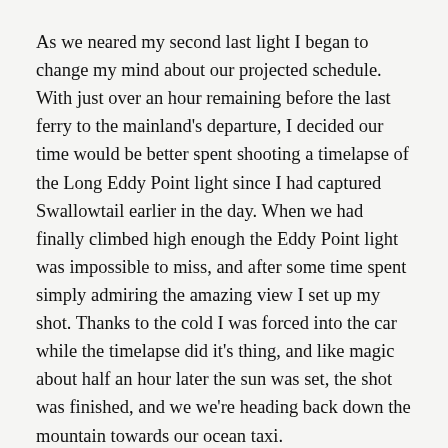As we neared my second last light I began to change my mind about our projected schedule. With just over an hour remaining before the last ferry to the mainland's departure, I decided our time would be better spent shooting a timelapse of the Long Eddy Point light since I had captured Swallowtail earlier in the day. When we had finally climbed high enough the Eddy Point light was impossible to miss, and after some time spent simply admiring the amazing view I set up my shot. Thanks to the cold I was forced into the car while the timelapse did it's thing, and like magic about half an hour later the sun was set, the shot was finished, and we we're heading back down the mountain towards our ocean taxi.
Once at sea I took advantage of the opportunity to witness a lighthouse as it was meant to be seen. The huge Swallowtail light perched atop it's rocky outcropping beamed in the pitch-black night and was more distinct than any light I had ever seen before. Watching the beacon fade into the distance was a perfect way to end a long day, and a fantastic trip across New Brunswick's snowy southern shore.